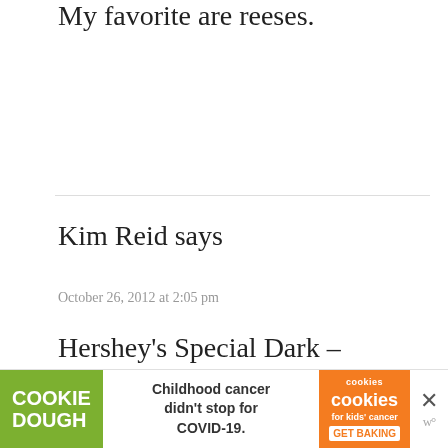My favorite are reeses.
Kim Reid says
October 26, 2012 at 2:05 pm
Hershey’s Special Dark – Thanks!
[Figure (other): Cookie Dough advertisement banner: 'Childhood cancer didn’t stop for COVID-19. GET BAKING' with cookies for kids’ cancer logo]